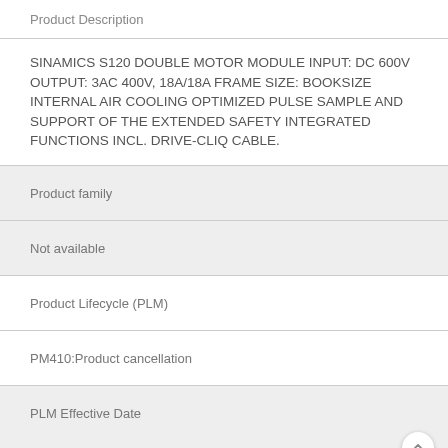Product Description
SINAMICS S120 DOUBLE MOTOR MODULE INPUT: DC 600V OUTPUT: 3AC 400V, 18A/18A FRAME SIZE: BOOKSIZE INTERNAL AIR COOLING OPTIMIZED PULSE SAMPLE AND SUPPORT OF THE EXTENDED SAFETY INTEGRATED FUNCTIONS INCL. DRIVE-CLIQ CABLE.
Product family
Not available
Product Lifecycle (PLM)
PM410:Product cancellation
PLM Effective Date